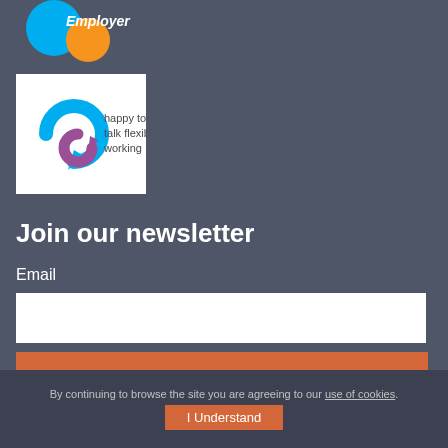[Figure (logo): Employer logo with teal and orange circular shapes and italic text 'Employer']
[Figure (logo): Happy to talk flexible working logo with blue and purple arrow shapes and text]
Join our newsletter
Email
SIGN UP
By continuing to browse the site you are agreeing to our use of cookies.
I Understand